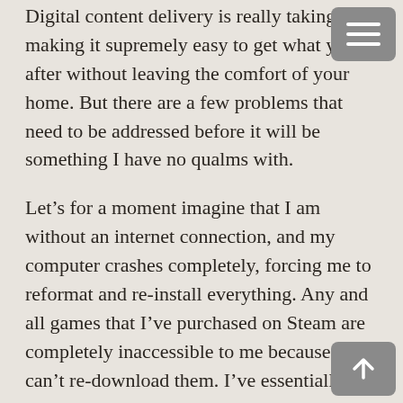Digital content delivery is really taking off, making it supremely easy to get what you're after without leaving the comfort of your home. But there are a few problems that need to be addressed before it will be something I have no qualms with.
Let's for a moment imagine that I am without an internet connection, and my computer crashes completely, forcing me to reformat and re-install everything. Any and all games that I've purchased on Steam are completely inaccessible to me because I can't re-download them. I've essentially lost whatever money I've spent on these titles and have nothing to show for it. Even once I do have an internet connection, I've got to spend hours